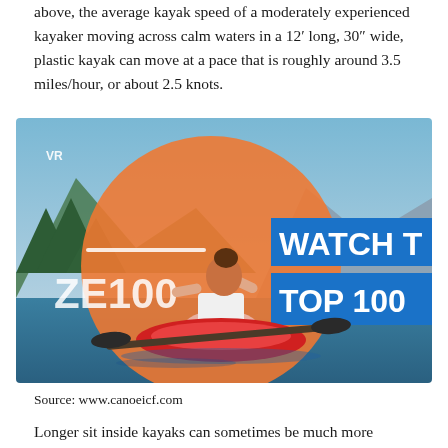above, the average kayak speed of a moderately experienced kayaker moving across calm waters in a 12′ long, 30″ wide, plastic kayak can move at a pace that is roughly around 3.5 miles/hour, or about 2.5 knots.
[Figure (photo): A woman in a white tank top sits in a red kayak on calm water, holding a paddle and shading her eyes. The background shows mountains and trees. A large orange circle graphic is overlaid, with text reading 'ZE100' on the left and two blue banners on the right reading 'WATCH T' and 'TOP 100'. Text 'VR' appears in the upper left.]
Source: www.canoeicf.com
Longer sit inside kayaks can sometimes be much more...